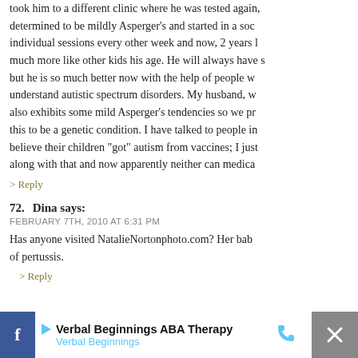took him to a different clinic where he was tested again, determined to be mildly Asperger's and started in a social skills group, individual sessions every other week and now, 2 years later, he acts much more like other kids his age. He will always have some struggles but he is so much better now with the help of people who understand autistic spectrum disorders. My husband, who also exhibits some mild Asperger's tendencies so we presume this to be a genetic condition. I have talked to people in who believe their children "got" autism from vaccines; I just can't go along with that and now apparently neither can medica
> Reply
72. Dina says:
FEBRUARY 7TH, 2010 AT 6:31 PM

Has anyone visited NatalieNortonphoto.com? Her baby died of pertussis.
> Reply
[Figure (screenshot): Advertisement bar at bottom: Facebook icon on left, Verbal Beginnings ABA Therapy ad with phone icon, close button with X on right]